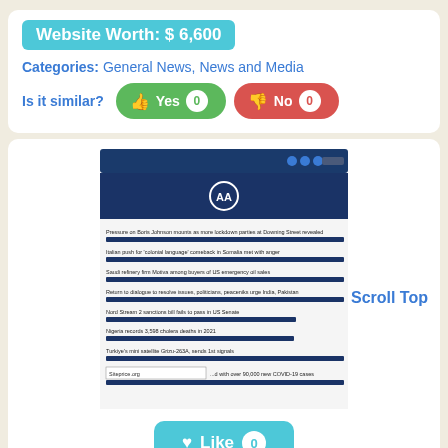Website Worth: $ 6,600
Categories: General News, News and Media
Is it similar? Yes 0  No 0
[Figure (screenshot): Screenshot of aa.com.tr news website showing multiple headlines with blue progress bars, AA logo on dark blue header, and a Siteprice.org watermark]
Scroll Top
Like 0
aa.com.tr